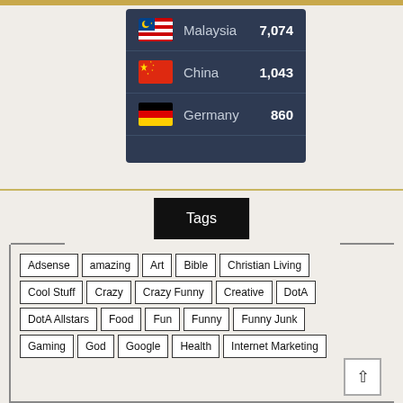| Flag | Country | Count |
| --- | --- | --- |
| 🇲🇾 | Malaysia | 7,074 |
| 🇨🇳 | China | 1,043 |
| 🇩🇪 | Germany | 860 |
Tags
Adsense
amazing
Art
Bible
Christian Living
Cool Stuff
Crazy
Crazy Funny
Creative
DotA
DotA Allstars
Food
Fun
Funny
Funny Junk
Gaming
God
Google
Health
Internet Marketing